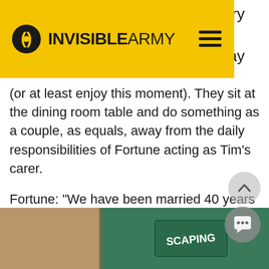INVISIBLE ARMY
worry a today (or at least enjoy this moment). They sit at the dining room table and do something as a couple, as equals, away from the daily responsibilities of Fortune acting as Tim's carer.
Fortune: “We have been married 40 years now. It has always been a caring relationship but in the last few years caring has become something different for us. There is more to it now. However, I love him, so I will always be by his side, regardless.”
[Figure (photo): Bottom strip showing a door on the left side and a green background on the right side with partially visible signage.]